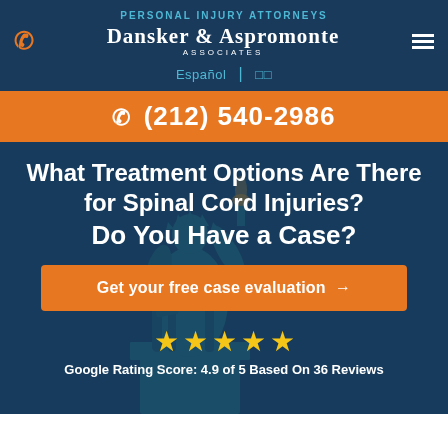PERSONAL INJURY ATTORNEYS
DANSKER & ASPROMONTE ASSOCIATES
Español | □□
☎ (212) 540-2986
What Treatment Options Are There for Spinal Cord Injuries? Do You Have a Case?
Get your free case evaluation →
★★★★★
Google Rating Score: 4.9 of 5 Based On 36 Reviews